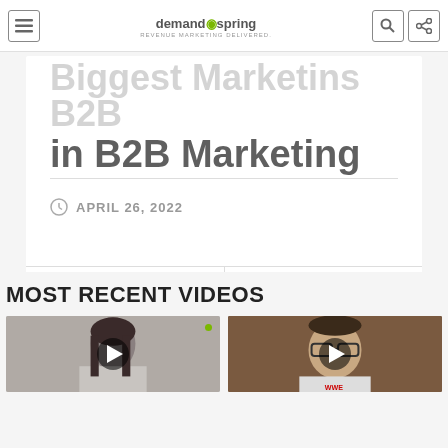demand spring — REVENUE MARKETING DELIVERED.
in B2B Marketing
APRIL 26, 2022
PREVIOUS VIDEO
NEXT VIDEO
MOST RECENT VIDEOS
[Figure (photo): Thumbnail of a woman with long dark hair, video play button overlay]
[Figure (photo): Thumbnail of a man wearing glasses, video play button overlay]